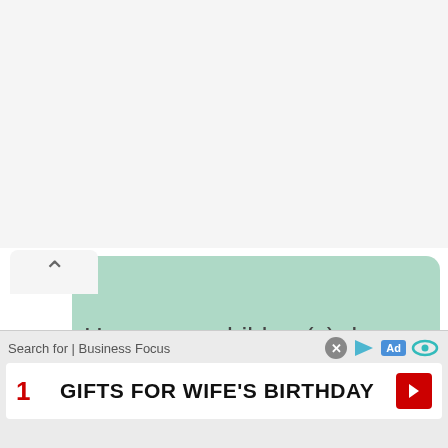Search for | Business Focus
1. FREE INTERNET TV STREAM
[Figure (screenshot): Green rounded rectangle speech bubble box with a white chevron/up-arrow tab on the left side]
How many children(s) does he have?
Reference : Wiki, StarsNetworths, Newspapers.
Search for | Business Focus  1  GIFTS FOR WIFE'S BIRTHDAY